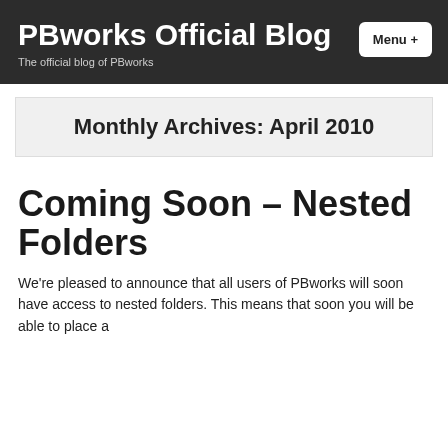PBworks Official Blog
The official blog of PBworks
Monthly Archives: April 2010
Coming Soon – Nested Folders
We're pleased to announce that all users of PBworks will soon have access to nested folders. This means that soon you will be able to place a